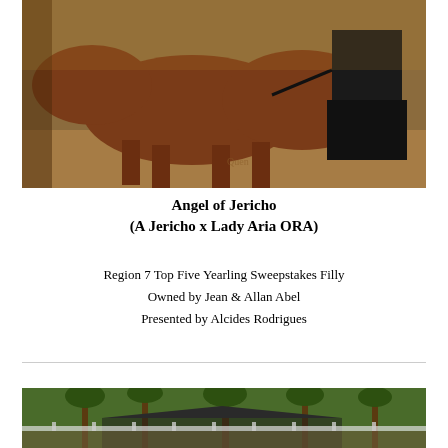[Figure (photo): A chestnut horse being led by a person wearing a black outfit, photographed from behind/side in what appears to be a show ring with sandy ground.]
Angel of Jericho
(A Jericho x Lady Aria ORA)
Region 7 Top Five Yearling Sweepstakes Filly
Owned by Jean & Allan Abel
Presented by Alcides Rodrigues
[Figure (photo): An outdoor garden or estate scene with large palm trees, lush green foliage, and what appears to be a building or pavilion structure with a dark roof visible in the background.]